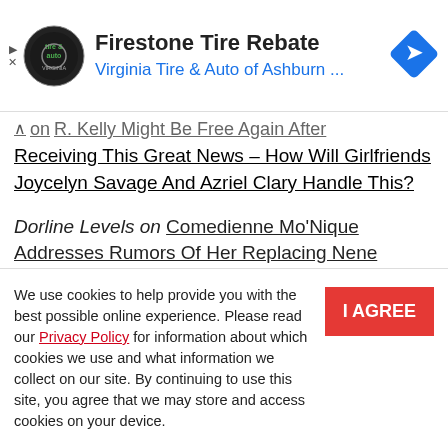[Figure (other): Advertisement banner: Firestone Tire Rebate - Virginia Tire & Auto of Ashburn ... with logo and navigation arrow]
on R. Kelly Might Be Free Again After Receiving This Great News – How Will Girlfriends Joycelyn Savage And Azriel Clary Handle This?
Dorline Levels on Comedienne Mo'Nique Addresses Rumors Of Her Replacing Nene Leakes On RHOA – Porsha Williams Chimes In
We use cookies to help provide you with the best possible online experience. Please read our Privacy Policy for information about which cookies we use and what information we collect on our site. By continuing to use this site, you agree that we may store and access cookies on your device.